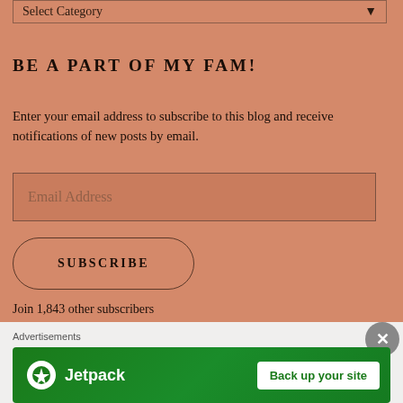Select Category
BE A PART OF MY FAM!
Enter your email address to subscribe to this blog and receive notifications of new posts by email.
Email Address
SUBSCRIBE
Join 1,843 other subscribers
Advertisements
[Figure (screenshot): Jetpack advertisement banner with green background showing Jetpack logo and 'Back up your site' button]